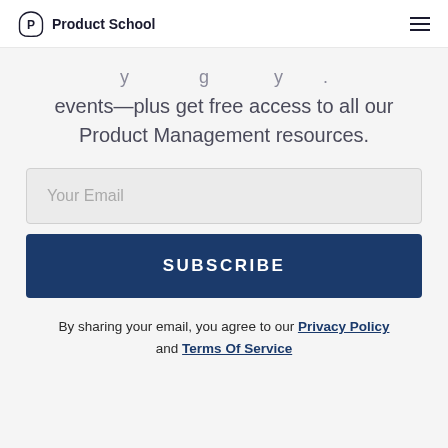Product School
events—plus get free access to all our Product Management resources.
Your Email
SUBSCRIBE
By sharing your email, you agree to our Privacy Policy and Terms Of Service